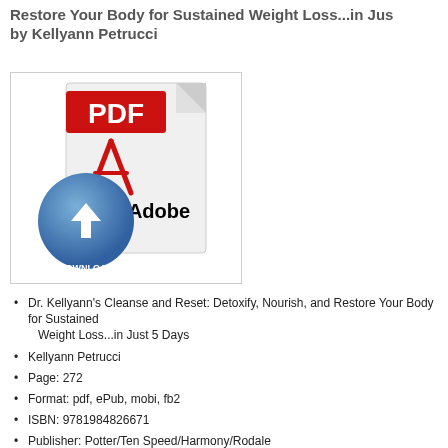Restore Your Body for Sustained Weight Loss...in Just 5 Days by Kellyann Petrucci
[Figure (illustration): PDF download icon: a document with a red PDF label badge on top-left, an Adobe Acrobat logo in the center, and a blue download button with downward arrow and 'DOWNLOAD' text at the bottom-left.]
Dr. Kellyann's Cleanse and Reset: Detoxify, Nourish, and Restore Your Body for Sustained Weight Loss...in Just 5 Days
Kellyann Petrucci
Page: 272
Format: pdf, ePub, mobi, fb2
ISBN: 9781984826671
Publisher: Potter/Ten Speed/Harmony/Rodale